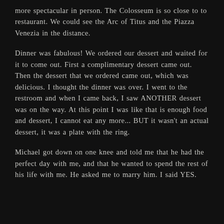more spectacular in person. The Colosseum is so close to to restaurant. We could see the Arc of Titus and the Piazza Venezia in the distance.
Dinner was fabulous! We ordered our dessert and waited for it to come out. First a complimentary dessert came out. Then the dessert that we ordered came out, which was delicious. I thought the dinner was over. I went to the restroom and when I came back, I saw ANOTHER dessert was on the way. At this point I was like that is enough food and dessert, I cannot eat any more... BUT it wasn't an actual dessert, it was a plate with the ring.
Michael got down on one knee and told me that he had the perfect day with me, and that he wanted to spend the rest of his life with me. He asked me to marry him. I said YES.